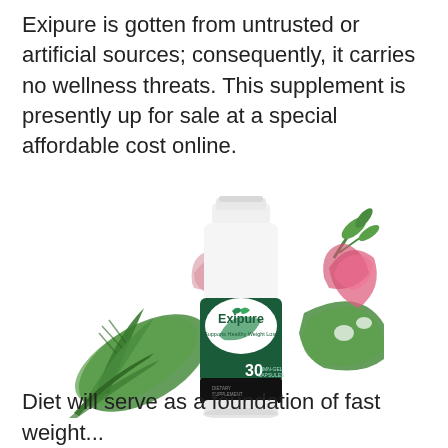Exipure is gotten from untrusted or artificial sources; consequently, it carries no wellness threats. This supplement is presently up for sale at a special affordable cost online.
[Figure (photo): Exipure dietary supplement bottle (30 capsules, Supports Healthy Weight Loss) surrounded by tropical leaves and pink flowers on a white background.]
Diet will serve as a foundation of fast weight...